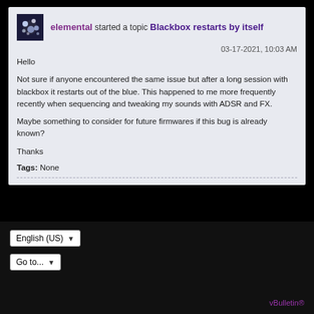elemental started a topic Blackbox restarts by itself
03-17-2021, 10:03 AM
Hello

Not sure if anyone encountered the same issue but after a long session with blackbox it restarts out of the blue. This happened to me more frequently recently when sequencing and tweaking my sounds with ADSR and FX.

Maybe something to consider for future firmwares if this bug is already known?

Thanks
Tags: None
English (US)  Go to...  vBulletin®